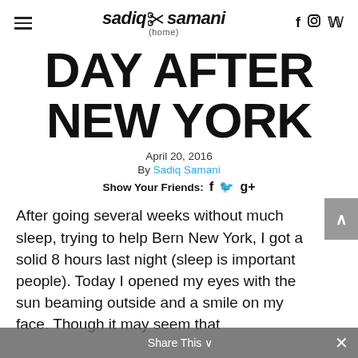sadiq samani (home)
DAY AFTER NEW YORK
April 20, 2016
By Sadiq Samani
Show Your Friends:
After going several weeks without much sleep, trying to help Bern New York, I got a solid 8 hours last night (sleep is important people). Today I opened my eyes with the sun beaming outside and a smile on my face. Though it may seem that